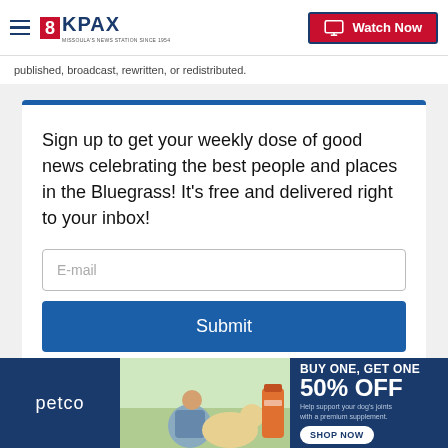8KPAX | Watch Now
published, broadcast, rewritten, or redistributed.
Sign up to get your weekly dose of good news celebrating the best people and places in the Bluegrass! It's free and delivered right to your inbox!
[Figure (screenshot): Email input field with placeholder 'E-mail' and a blue Submit button]
[Figure (infographic): Petco advertisement banner: BUY ONE, GET ONE 50% OFF - Help support your dog's joints with a premium supplement. SHOP NOW button. Shows woman with golden retriever dog and supplement product.]